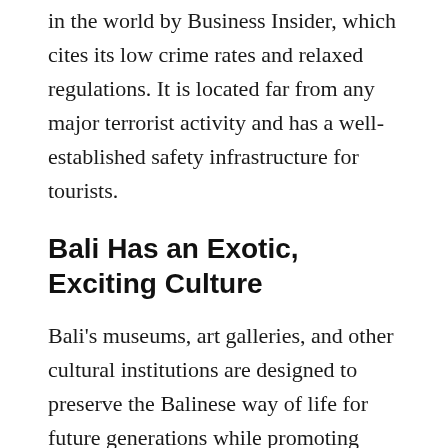in the world by Business Insider, which cites its low crime rates and relaxed regulations. It is located far from any major terrorist activity and has a well-established safety infrastructure for tourists.
Bali Has an Exotic, Exciting Culture
Bali's museums, art galleries, and other cultural institutions are designed to preserve the Balinese way of life for future generations while promoting appreciation among tourists. Also, Bali has many unique traditions that expats can enjoy participating in, such as the Hindu Fire Dance.
5. There are...